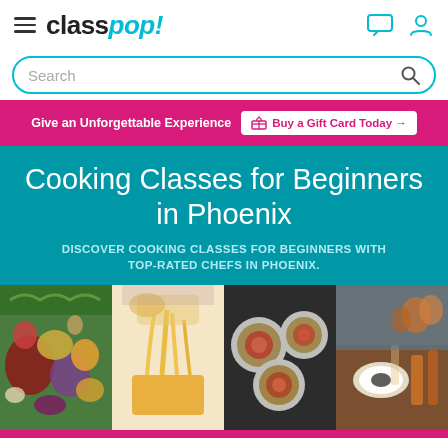classpop! — navigation header with hamburger menu, logo, chat icon, and user icon
Search
Give an Unforgettable Experience  Buy a Gift Card Today →
Cooking Classes for Beginners in Phoenix
DISCOVER COOKING CLASSES FOR BEGINNERS WITH TOP-RATED CHEFS IN PHOENIX.
[Figure (photo): Four-panel image grid: fresh vegetables and fruits, hands pulling melted cheese, sushi rolls, and a restaurant table setting.]